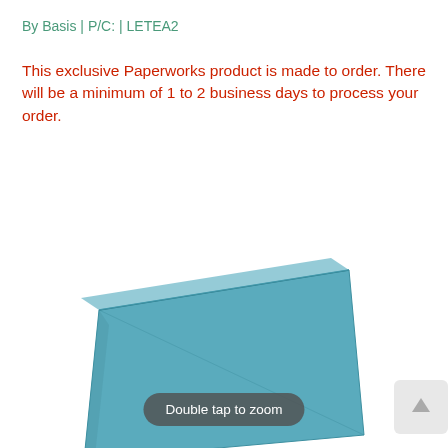By Basis | P/C: | LETEA2
This exclusive Paperworks product is made to order. There will be a minimum of 1 to 2 business days to process your order.
[Figure (photo): A teal/light blue rectangular envelope photographed at a slight angle on a white background, showing the front face and flap seam.]
Double tap to zoom